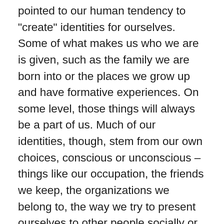pointed to our human tendency to "create" identities for ourselves. Some of what makes us who we are is given, such as the family we are born into or the places we grow up and have formative experiences. On some level, those things will always be a part of us. Much of our identities, though, stem from our own choices, conscious or unconscious – things like our occupation, the friends we keep, the organizations we belong to, the way we try to present ourselves to other people socially or professionally or otherwise. As you can imagine, all of this is messy, but the overall point is this: that we spend much of our lives creating and defining our own identities. If he's right about this, then perhaps the way that Jesus' message about the cross can speak to us is this: If anyone wants to become my disciple, they should deny the self that they have constructed, take up the cross that puts that self to death, and follow Jesus on the path that leads to a new life...